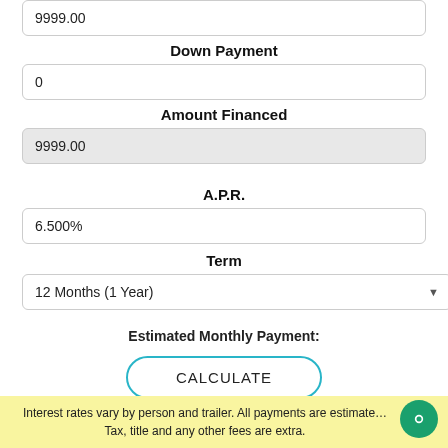9999.00
Down Payment
0
Amount Financed
9999.00
A.P.R.
6.500%
Term
12 Months (1 Year)
Estimated Monthly Payment:
CALCULATE
Interest rates vary by person and trailer. All payments are estimate… Tax, title and any other fees are extra.